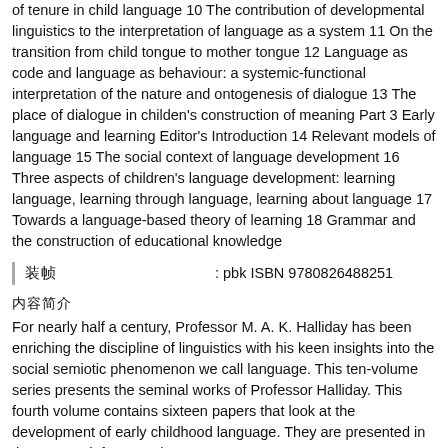of tenure in child language 10 The contribution of developmental linguistics to the interpretation of language as a system 11 On the transition from child tongue to mother tongue 12 Language as code and language as behaviour: a systemic-functional interpretation of the nature and ontogenesis of dialogue 13 The place of dialogue in childen's construction of meaning Part 3 Early language and learning Editor's Introduction 14 Relevant models of language 15 The social context of language development 16 Three aspects of children's language development: learning language, learning through language, learning about language 17 Towards a language-based theory of learning 18 Grammar and the construction of educational knowledge
装帧 : pbk ISBN 9780826488251
内容简介
For nearly half a century, Professor M. A. K. Halliday has been enriching the discipline of linguistics with his keen insights into the social semiotic phenomenon we call language. This ten-volume series presents the seminal works of Professor Halliday. This fourth volume contains sixteen papers that look at the development of early childhood language. They are presented in three parts: infancy and